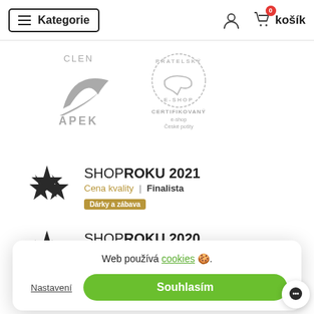Kategorie  košík
[Figure (logo): APEK member logo with stylized arrow and text CLEN APEK]
[Figure (logo): Pratelsky E-SHOP stamp logo - CERTIFIKOVANY e-shop Ceske posty]
[Figure (logo): ShopRoku 2021 star logo - Cena kvality Finalista - Darky a zabava]
[Figure (logo): ShopRoku 2020 star logo - Cena kvality Vitez - Darky a zabava]
Web používá cookies 🍪.
Nastavení
Souhlasím